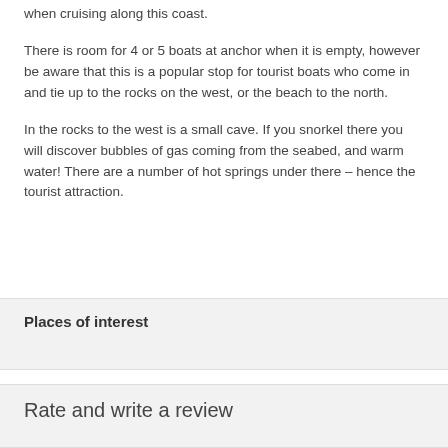when cruising along this coast.
There is room for 4 or 5 boats at anchor when it is empty, however be aware that this is a popular stop for tourist boats who come in and tie up to the rocks on the west, or the beach to the north.
In the rocks to the west is a small cave. If you snorkel there you will discover bubbles of gas coming from the seabed, and warm water! There are a number of hot springs under there – hence the tourist attraction.
Places of interest
Rate and write a review